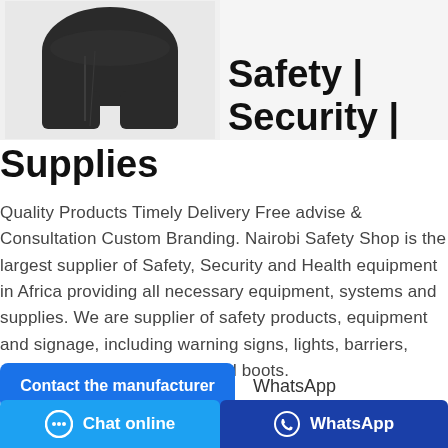[Figure (photo): Black protective gloves/shorts product image on light gray background]
Safety | Security | Supplies
Quality Products Timely Delivery Free advise & Consultation Custom Branding. Nairobi Safety Shop is the largest supplier of Safety, Security and Health equipment in Africa providing all necessary equipment, systems and supplies. We are supplier of safety products, equipment and signage, including warning signs, lights, barriers, guards, protective clothing and boots.
Contact the manufacturer   WhatsApp
powder
Chat online   WhatsApp